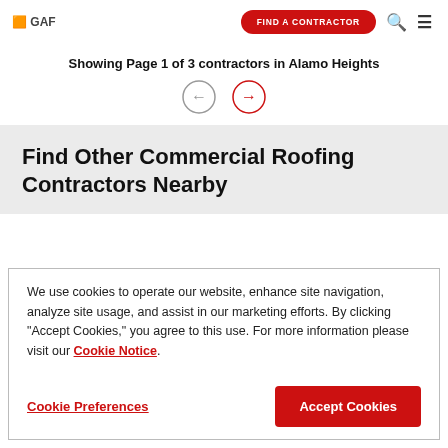GAF | FIND A CONTRACTOR
Showing Page 1 of 3 contractors in Alamo Heights
[Figure (other): Pagination arrows: left arrow (grey circle) and right arrow (red circle)]
Find Other Commercial Roofing Contractors Nearby
We use cookies to operate our website, enhance site navigation, analyze site usage, and assist in our marketing efforts. By clicking "Accept Cookies," you agree to this use. For more information please visit our Cookie Notice.
Cookie Preferences  Accept Cookies